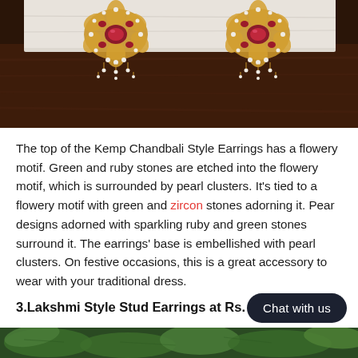[Figure (photo): Photo of a pair of Kemp Chandbali Style gold earrings with ruby and green stones and pearl clusters, displayed on a white cloth over a dark wooden surface.]
The top of the Kemp Chandbali Style Earrings has a flowery motif. Green and ruby stones are etched into the flowery motif, which is surrounded by pearl clusters. It's tied to a flowery motif with green and zircon stones adorning it. Pear designs adorned with sparkling ruby and green stones surround it. The earrings' base is embellished with pearl clusters. On festive occasions, this is a great accessory to wear with your traditional dress.
3.Lakshmi Style Stud Earrings at Rs.
[Figure (photo): Partial photo showing green leaves, bottom of the page, partially visible.]